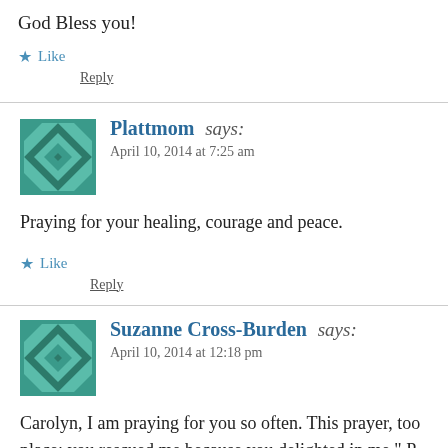God Bless you!
★ Like
Reply
Plattmom says:
April 10, 2014 at 7:25 am
Praying for your healing, courage and peace.
★ Like
Reply
Suzanne Cross-Burden says:
April 10, 2014 at 12:18 pm
Carolyn, I am praying for you so often. This prayer, too place; you rescued me because you delighted in me." P